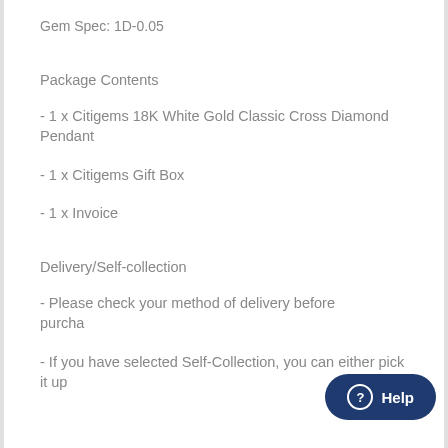Gem Spec: 1D-0.05
Package Contents
- 1 x Citigems 18K White Gold Classic Cross Diamond Pendant
- 1 x Citigems Gift Box
- 1 x Invoice
Delivery/Self-collection
- Please check your method of delivery before purcha...
- If you have selected Self-Collection, you can either pick it up